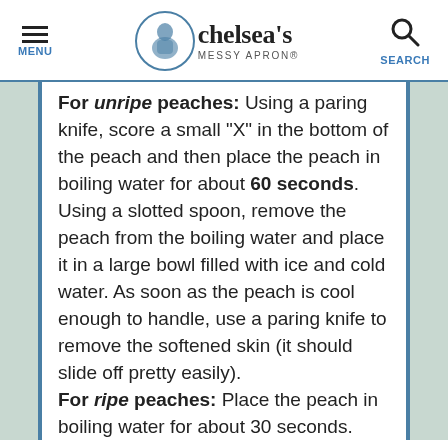chelsea's MESSY APRON® | MENU | SEARCH
For unripe peaches: Using a paring knife, score a small "X" in the bottom of the peach and then place the peach in boiling water for about 60 seconds. Using a slotted spoon, remove the peach from the boiling water and place it in a large bowl filled with ice and cold water. As soon as the peach is cool enough to handle, use a paring knife to remove the softened skin (it should slide off pretty easily).
For ripe peaches: Place the peach in boiling water for about 30 seconds. Using a slotted spoon, remove the peach from the boiling water and place it in a large bowl filled with ice